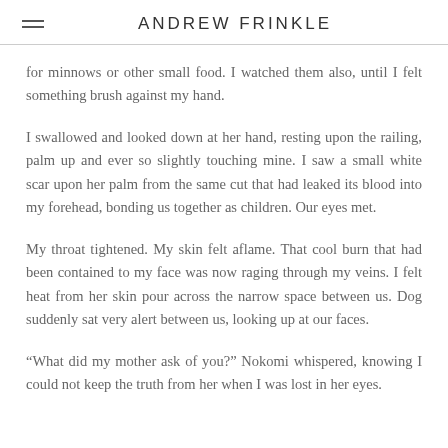ANDREW FRINKLE
for minnows or other small food. I watched them also, until I felt something brush against my hand.
I swallowed and looked down at her hand, resting upon the railing, palm up and ever so slightly touching mine. I saw a small white scar upon her palm from the same cut that had leaked its blood into my forehead, bonding us together as children. Our eyes met.
My throat tightened. My skin felt aflame. That cool burn that had been contained to my face was now raging through my veins. I felt heat from her skin pour across the narrow space between us. Dog suddenly sat very alert between us, looking up at our faces.
“What did my mother ask of you?” Nokomi whispered, knowing I could not keep the truth from her when I was lost in her eyes.